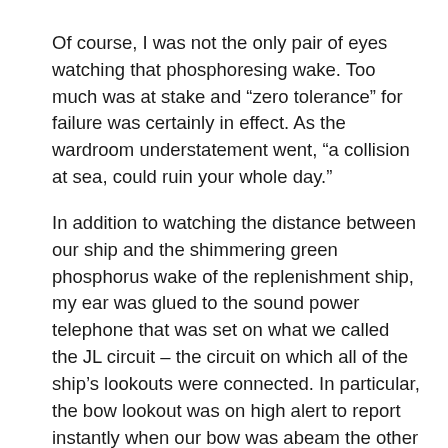Of course, I was not the only pair of eyes watching that phosphoresing wake. Too much was at stake and “zero tolerance” for failure was certainly in effect. As the wardroom understatement went, “a collision at sea, could ruin your whole day.”
In addition to watching the distance between our ship and the shimmering green phosphorus wake of the replenishment ship, my ear was glued to the sound power telephone that was set on what we called the JL circuit – the circuit on which all of the ship’s lookouts were connected. In particular, the bow lookout was on high alert to report instantly when our bow was abeam the other ship’s stern. As soon as that information had been relayed to me, I yelled to the Lee Helmsman to “make turns for 12 knots.” Rapidly, the big carrier would begin to slow and before we had overshot the replenishment vessel,